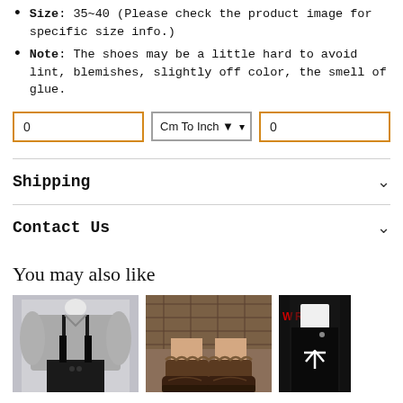Size: 35~40 (Please check the product image for specific size info.)
Note: The shoes may be a little hard to avoid lint, blemishes, slightly off color, the smell of glue.
Shipping
Contact Us
You may also like
[Figure (photo): Gray oversized jacket with black suspender skirt outfit on mannequin]
[Figure (photo): Brown leather platform loafers with brown frilly socks on a person wearing plaid skirt]
[Figure (photo): Black skirt outfit on model, dark background with red text, back-to-top arrow overlay]